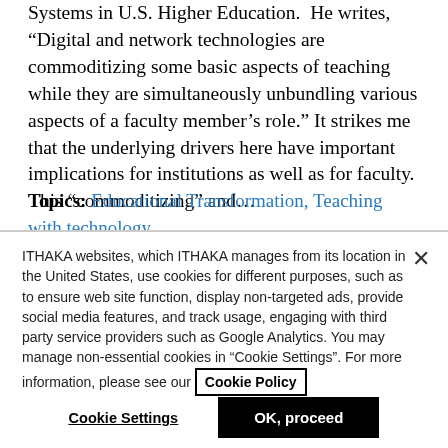Systems in U.S. Higher Education. He writes, "Digital and network technologies are commoditizing some basic aspects of teaching while they are simultaneously unbundling various aspects of a faculty member’s role.” It strikes me that the underlying drivers here have important implications for institutions as well as for faculty. This “commoditizing” and…
Topics: Educational Transformation, Teaching with technology
ITHAKA websites, which ITHAKA manages from its location in the United States, use cookies for different purposes, such as to ensure web site function, display non-targeted ads, provide social media features, and track usage, engaging with third party service providers such as Google Analytics. You may manage non-essential cookies in “Cookie Settings”. For more information, please see our Cookie Policy
Cookie Settings
OK, proceed